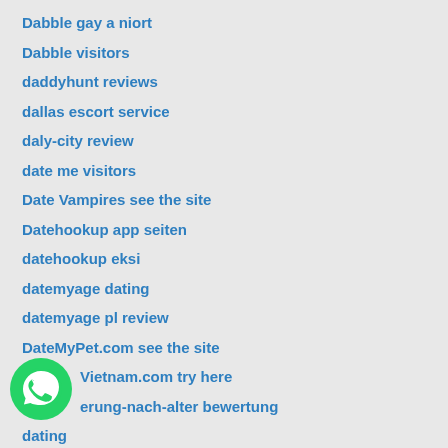Dabble gay a niort
Dabble visitors
daddyhunt reviews
dallas escort service
daly-city review
date me visitors
Date Vampires see the site
Datehookup app seiten
datehookup eksi
datemyage dating
datemyage pl review
DateMyPet.com see the site
...Vietnam.com try here
...erung-nach-alter bewertung
dating
[Figure (logo): WhatsApp logo icon — green circle with white phone handset]